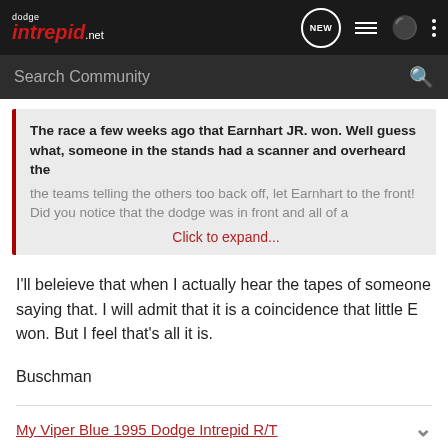dodge intrepid .net — navigation bar with NEW, list, user, and more icons
Search Community
The race a few weeks ago that Earnhart JR. won. Well guess what, someone in the stands had a scanner and overheard the the teams telling the others too back off, let Earnhart to the front! Did you notice that the dodge was in front and all of a
Click to expand...
I'll beleieve that when I actually hear the tapes of someone saying that. I will admit that it is a coincidence that little E won. But I feel that's all it is.
Buschman
My Viper Blue 1995 Dodge Intrepid R/T